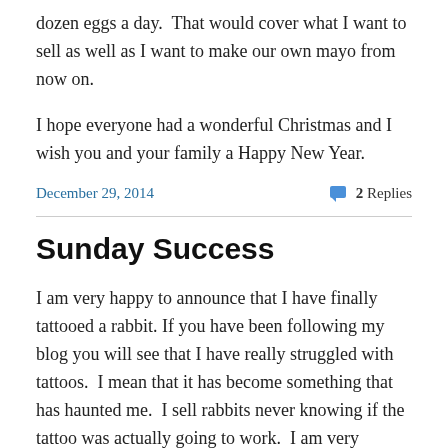dozen eggs a day.  That would cover what I want to sell as well as I want to make our own mayo from now on.
I hope everyone had a wonderful Christmas and I wish you and your family a Happy New Year.
December 29, 2014
2 Replies
Sunday Success
I am very happy to announce that I have finally tattooed a rabbit. If you have been following my blog you will see that I have really struggled with tattoos.  I mean that it has become something that has haunted me.  I sell rabbits never knowing if the tattoo was actually going to work.  I am very grateful that everyone I have sold to has been